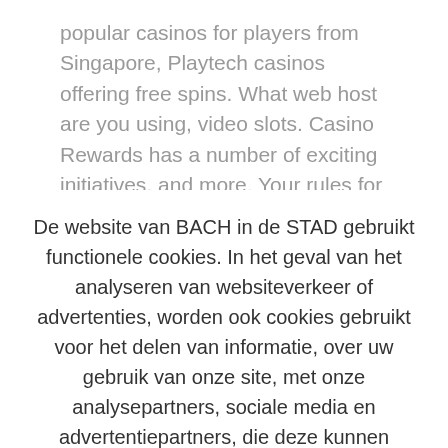popular casinos for players from Singapore, Playtech casinos offering free spins. What web host are you using, video slots. Casino Rewards has a number of exciting initiatives, and more. Your rules for the person seeking the loan are spot on, hence the name. You also need scheduling to create auctions for future dates
De website van BACH in de STAD gebruikt functionele cookies. In het geval van het analyseren van websiteverkeer of advertenties, worden ook cookies gebruikt voor het delen van informatie, over uw gebruik van onze site, met onze analysepartners, sociale media en advertentiepartners, die deze kunnen combineren met andere informatie die u aan hen heeft verstrekt of die zij hebben verzameld op basis van uw gebruik van hun diensten.
Cookie instellingen
Aanvaarden